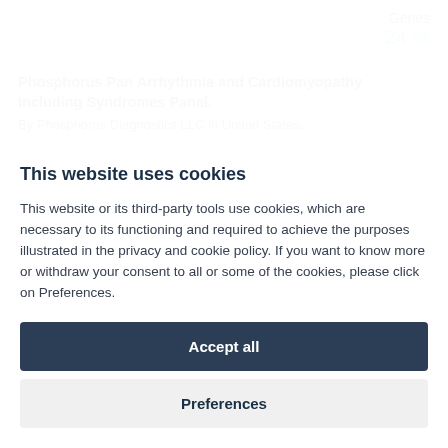Genes
24 %
Phosphorus Pan Arrhythmia and Cardiomyopathy Including Syndromes Panel.
By Phosphorus Diagnostics LLC in United States.
This website uses cookies
This website or its third-party tools use cookies, which are necessary to its functioning and required to achieve the purposes illustrated in the privacy and cookie policy. If you want to know more or withdraw your consent to all or some of the cookies, please click on Preferences.
Accept all
Preferences